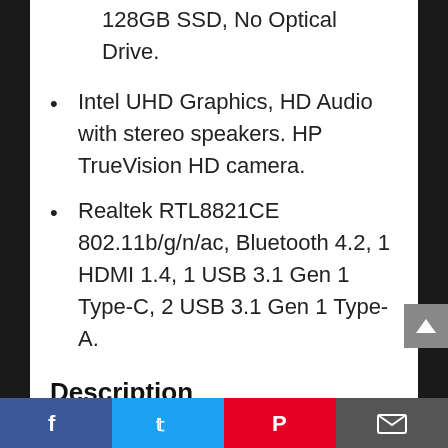128GB SSD, No Optical Drive.
Intel UHD Graphics, HD Audio with stereo speakers. HP TrueVision HD camera.
Realtek RTL8821CE 802.11b/g/n/ac, Bluetooth 4.2, 1 HDMI 1.4, 1 USB 3.1 Gen 1 Type-C, 2 USB 3.1 Gen 1 Type-A.
Description
New HP 15.6″ HD Touchscreen Laptop Intel Core i3-1005G1 8GB DDR4 RAM 128GB SSD HDMI Bluetooth 802.11b/g/n/ac Windows 10